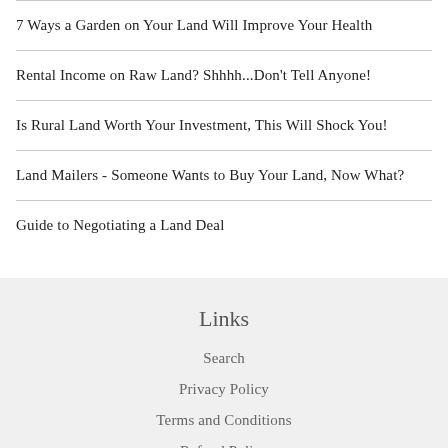7 Ways a Garden on Your Land Will Improve Your Health
Rental Income on Raw Land? Shhhh...Don't Tell Anyone!
Is Rural Land Worth Your Investment, This Will Shock You!
Land Mailers - Someone Wants to Buy Your Land, Now What?
Guide to Negotiating a Land Deal
Links
Search
Privacy Policy
Terms and Conditions
Refund Policy